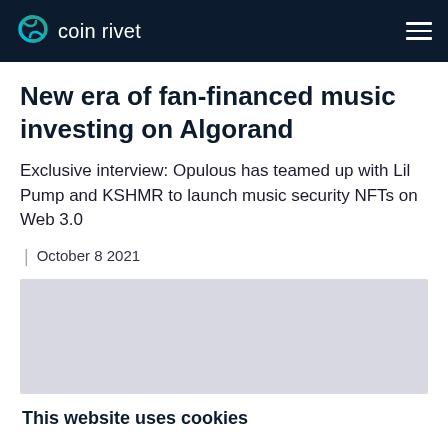coin rivet
New era of fan-financed music investing on Algorand
Exclusive interview: Opulous has teamed up with Lil Pump and KSHMR to launch music security NFTs on Web 3.0
| October 8 2021
[Figure (photo): Article header image placeholder (light grey/lavender rectangle)]
This website uses cookies